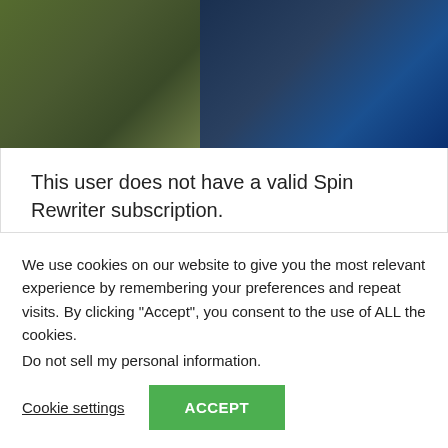[Figure (photo): Two people wearing outdoor/winter jackets photographed outdoors against a blue sky background.]
This user does not have a valid Spin Rewriter subscription.
[Figure (infographic): Social share buttons: Facebook, Twitter, Email, LinkedIn, Pinterest]
« Call of Duty    Amazon launches
We use cookies on our website to give you the most relevant experience by remembering your preferences and repeat visits. By clicking “Accept”, you consent to the use of ALL the cookies.
Do not sell my personal information.
Cookie settings  ACCEPT